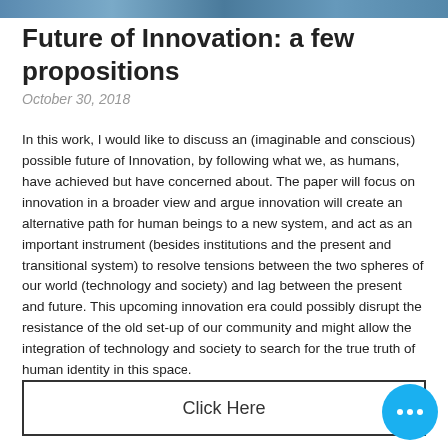[Figure (photo): Image strip at top of page showing partial photo]
Future of Innovation: a few propositions
October 30, 2018
In this work, I would like to discuss an (imaginable and conscious) possible future of Innovation, by following what we, as humans, have achieved but have concerned about. The paper will focus on innovation in a broader view and argue innovation will create an alternative path for human beings to a new system, and act as an important instrument (besides institutions and the present and transitional system) to resolve tensions between the two spheres of our world (technology and society) and lag between the present and future. This upcoming innovation era could possibly disrupt the resistance of the old set-up of our community and might allow the integration of technology and society to search for the true truth of human identity in this space.
Click Here